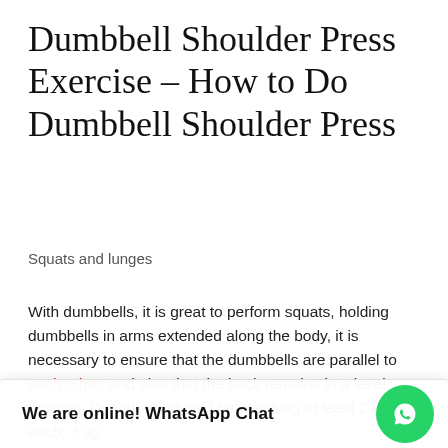Dumbbell Shoulder Press Exercise – How to Do Dumbbell Shoulder Press
Squats and lunges
With dumbbells, it is great to perform squats, holding dumbbells in arms extended along the body, it is necessary to ensure that the dumbbells are parallel to each other, and also that the back remains in a level position. Dumbbells should be weighing at least 2 kg each; 3 ap…
We are online! WhatsApp Chat